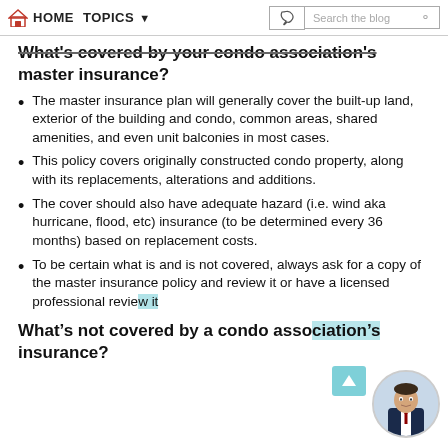HOME  TOPICS  Search the blog
What's covered by your condo association's master insurance?
The master insurance plan will generally cover the built-up land, exterior of the building and condo, common areas, shared amenities, and even unit balconies in most cases.
This policy covers originally constructed condo property, along with its replacements, alterations and additions.
The cover should also have adequate hazard (i.e. wind aka hurricane, flood, etc) insurance (to be determined every 36 months) based on replacement costs.
To be certain what is and is not covered, always ask for a copy of the master insurance policy and review it or have a licensed professional review it.
What's not covered by a condo association's insurance?